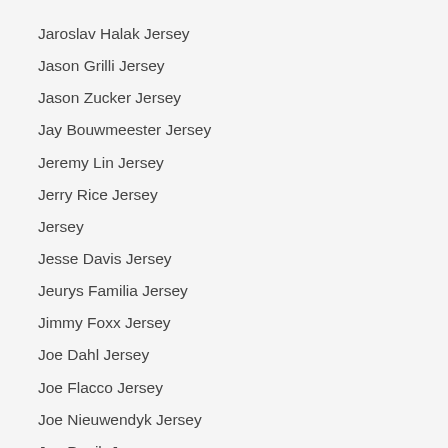Jaroslav Halak Jersey
Jason Grilli Jersey
Jason Zucker Jersey
Jay Bouwmeester Jersey
Jeremy Lin Jersey
Jerry Rice Jersey
Jersey
Jesse Davis Jersey
Jeurys Familia Jersey
Jimmy Foxx Jersey
Joe Dahl Jersey
Joe Flacco Jersey
Joe Nieuwendyk Jersey
Joe Panik Jersey